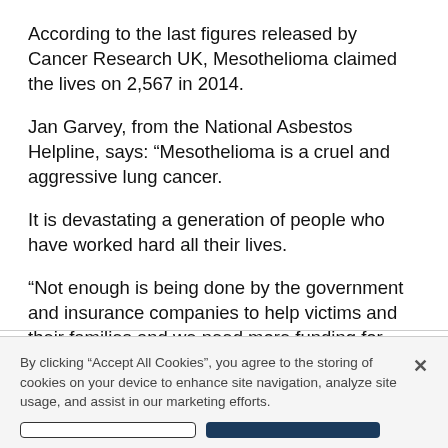According to the last figures released by Cancer Research UK, Mesothelioma claimed the lives on 2,567 in 2014.
Jan Garvey, from the National Asbestos Helpline, says: “Mesothelioma is a cruel and aggressive lung cancer.
It is devastating a generation of people who have worked hard all their lives.
“Not enough is being done by the government and insurance companies to help victims and their families and we need more funding for research into more effective treatments.”
By clicking “Accept All Cookies”, you agree to the storing of cookies on your device to enhance site navigation, analyze site usage, and assist in our marketing efforts.